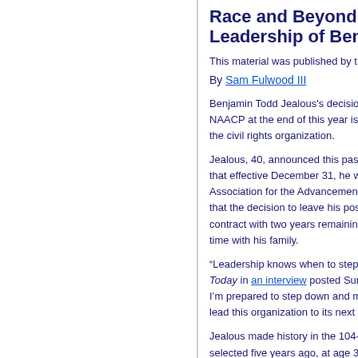Race and Beyond: Looking at the Leadership of Ben Jealous
This material was published by the C...
By Sam Fulwood III
Benjamin Todd Jealous's decision to leave the NAACP at the end of this year is a shock to the civil rights organization.
Jealous, 40, announced this past week that effective December 31, he would leave the Association for the Advancement of C... that the decision to leave his post mid-contract with two years remaining ste... time with his family.
“Leadership knows when to step up a... Today in an interview posted Sunday. I'm prepared to step down and make lead this organization to its next chap...
Jealous made history in the 104-year... selected five years ago, at age 35, as... making it again by becoming the first...